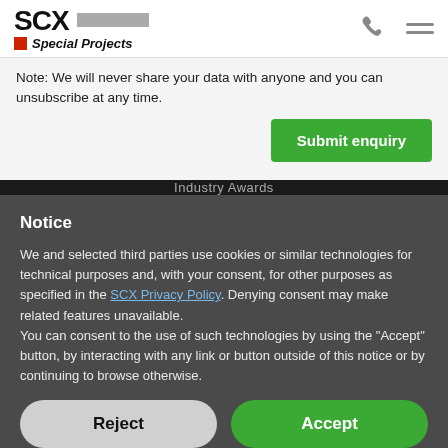SCX Special Projects
Note: We will never share your data with anyone and you can unsubscribe at any time.
Submit enquiry
Industry Awards
Notice
We and selected third parties use cookies or similar technologies for technical purposes and, with your consent, for other purposes as specified in the SCX Privacy Policy. Denying consent may make related features unavailable.
You can consent to the use of such technologies by using the "Accept" button, by interacting with any link or button outside of this notice or by continuing to browse otherwise.
Reject
Accept